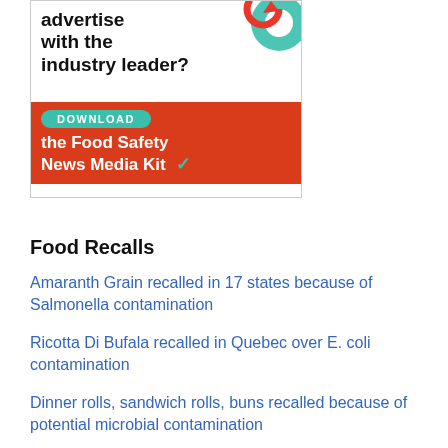[Figure (illustration): Advertisement banner for Food Safety News Media Kit. White top section with bold black text 'advertise with the industry leader?' and teal/red gear graphic. Red bottom section with teal 'DOWNLOAD' button and white text 'the Food Safety News Media Kit' with a teal checkmark.]
Food Recalls
Amaranth Grain recalled in 17 states because of Salmonella contamination
Ricotta Di Bufala recalled in Quebec over E. coli contamination
Dinner rolls, sandwich rolls, buns recalled because of potential microbial contamination